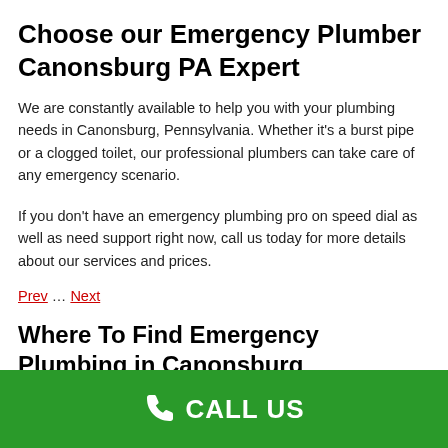Choose our Emergency Plumber Canonsburg PA Expert
We are constantly available to help you with your plumbing needs in Canonsburg, Pennsylvania. Whether it's a burst pipe or a clogged toilet, our professional plumbers can take care of any emergency scenario.
If you don't have an emergency plumbing pro on speed dial as well as need support right now, call us today for more details about our services and prices.
Prev … Next
Where To Find Emergency Plumbing in Canonsburg
CALL US